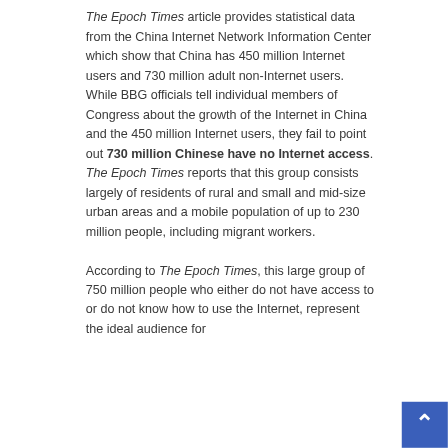The Epoch Times article provides statistical data from the China Internet Network Information Center which show that China has 450 million Internet users and 730 million adult non-Internet users. While BBG officials tell individual members of Congress about the growth of the Internet in China and the 450 million Internet users, they fail to point out 730 million Chinese have no Internet access. The Epoch Times reports that this group consists largely of residents of rural and small and mid-size urban areas and a mobile population of up to 230 million people, including migrant workers.
According to The Epoch Times, this large group of 750 million people who either do not have access to or do not know how to use the Internet, represent the ideal audience for